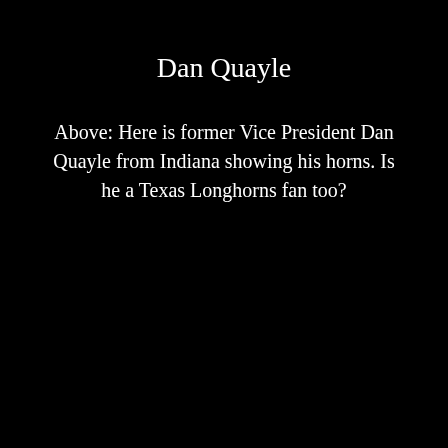Dan Quayle
Above: Here is former Vice President Dan Quayle from Indiana showing his horns. Is he a Texas Longhorns fan too?